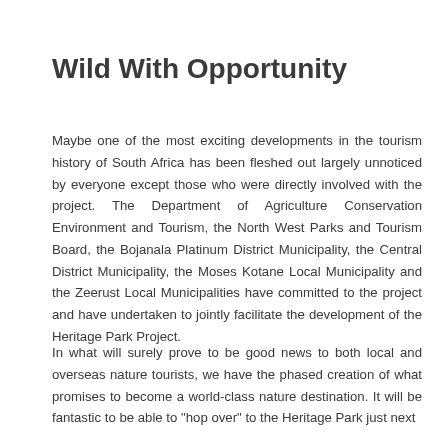Wild With Opportunity
Maybe one of the most exciting developments in the tourism history of South Africa has been fleshed out largely unnoticed by everyone except those who were directly involved with the project. The Department of Agriculture Conservation Environment and Tourism, the North West Parks and Tourism Board, the Bojanala Platinum District Municipality, the Central District Municipality, the Moses Kotane Local Municipality and the Zeerust Local Municipalities have committed to the project and have undertaken to jointly facilitate the development of the Heritage Park Project.
In what will surely prove to be good news to both local and overseas nature tourists, we have the phased creation of what promises to become a world-class nature destination. It will be fantastic to be able to "hop over" to the Heritage Park just next